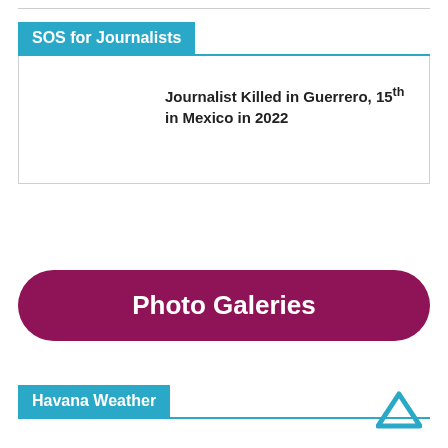SOS for Journalists
Journalist Killed in Guerrero, 15th in Mexico in 2022
Photo Galeries
Havana Weather